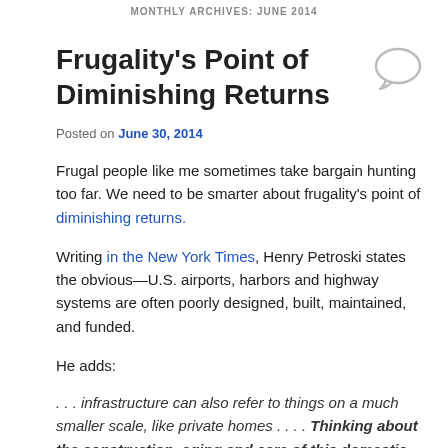MONTHLY ARCHIVES: JUNE 2014
Frugality's Point of Diminishing Returns
Posted on June 30, 2014
Frugal people like me sometimes take bargain hunting too far. We need to be smarter about frugality's point of diminishing returns.
Writing in the New York Times, Henry Petroski states the obvious—U.S. airports, harbors and highway systems are often poorly designed, built, maintained, and funded.
He adds:
. . . infrastructure can also refer to things on a much smaller scale, like private homes . . . . Thinking about the construction, aging and care of this domestic infrastructure can provide insight into how we as a nation